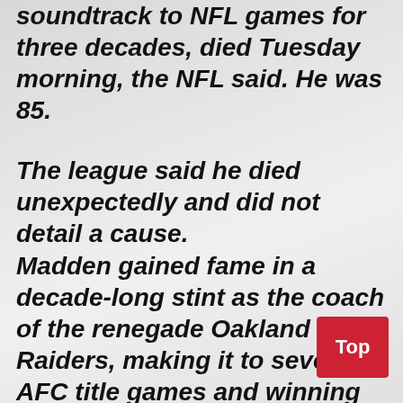soundtrack to NFL games for three decades, died Tuesday morning, the NFL said. He was 85.
The league said he died unexpectedly and did not detail a cause.
Madden gained fame in a decade-long stint as the coach of the renegade Oakland Raiders, making it to seven AFC title games and winning the Super Bowl following the 1976 season. He compiled a 103-32-7 regular-season record, and his .759 winning